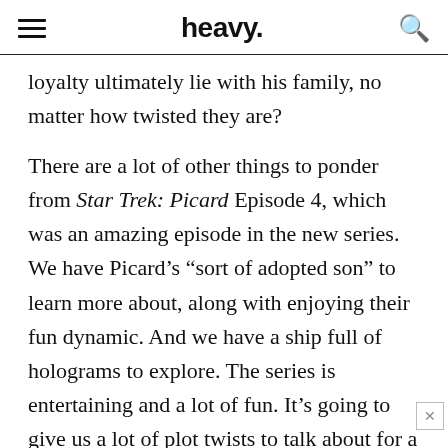heavy.
loyalty ultimately lie with his family, no matter how twisted they are?
There are a lot of other things to ponder from Star Trek: Picard Episode 4, which was an amazing episode in the new series. We have Picard’s “sort of adopted son” to learn more about, along with enjoying their fun dynamic. And we have a ship full of holograms to explore. The series is entertaining and a lot of fun. It’s going to give us a lot of plot twists to talk about for a long time.